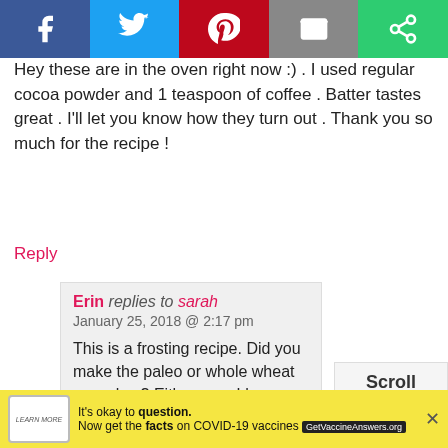[Figure (other): Social share bar with Facebook, Twitter, Pinterest, Email, and another share button icons]
Hey these are in the oven right now :) . I used regular cocoa powder and 1 teaspoon of coffee . Batter tastes great . I'll let you know how they turn out . Thank you so much for the recipe !
Reply
Erin replies to sarah
January 25, 2018 @ 2:17 pm

This is a frosting recipe. Did you make the paleo or whole wheat cupcakes? Either way, I hope you enjoyed them! :)
Reply
[Figure (other): Scroll to top button box]
Scroll to top
[Figure (other): Advertisement bar: It's okay to question. Now get the facts on COVID-19 vaccines. GetVaccineAnswers.org]